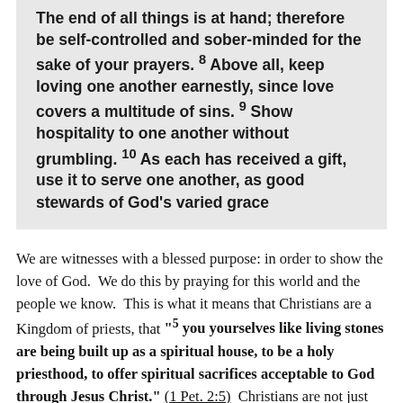The end of all things is at hand; therefore be self-controlled and sober-minded for the sake of your prayers. 8 Above all, keep loving one another earnestly, since love covers a multitude of sins. 9 Show hospitality to one another without grumbling. 10 As each has received a gift, use it to serve one another, as good stewards of God's varied grace
We are witnesses with a blessed purpose: in order to show the love of God.  We do this by praying for this world and the people we know.  This is what it means that Christians are a Kingdom of priests, that "5 you yourselves like living stones are being built up as a spiritual house, to be a holy priesthood, to offer spiritual sacrifices acceptable to God through Jesus Christ." (1 Pet. 2:5)  Christians are not just